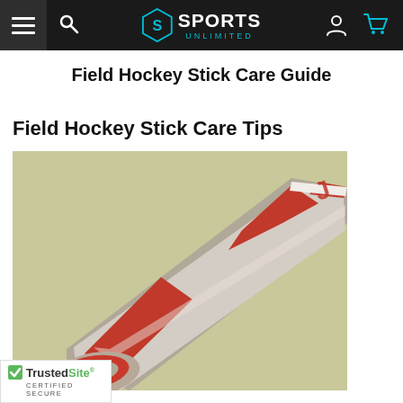Sports Unlimited — navigation header with hamburger menu, search, logo, user, and cart icons
Field Hockey Stick Care Guide
Field Hockey Stick Care Tips
[Figure (photo): Close-up photo of a field hockey stick with red, white, and gray coloring against a pale green/khaki background. The stick is angled diagonally across the frame.]
[Figure (logo): TrustedSite Certified Secure badge with green checkmark]